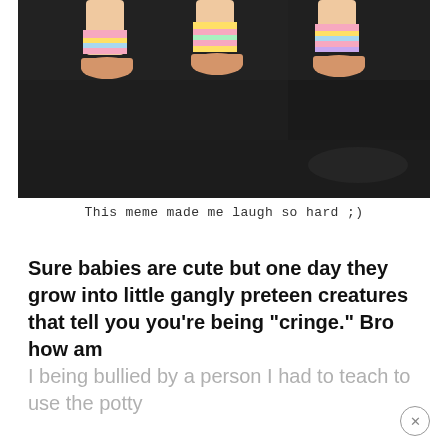[Figure (photo): Three children's feet wearing ballet/dance shoes and colorful striped socks standing on a dark black dance studio floor with mat seams visible]
This meme made me laugh so hard ;)
Sure babies are cute but one day they grow into little gangly preteen creatures that tell you you're being "cringe." Bro how am I being bullied by a person I had to teach to use the potty